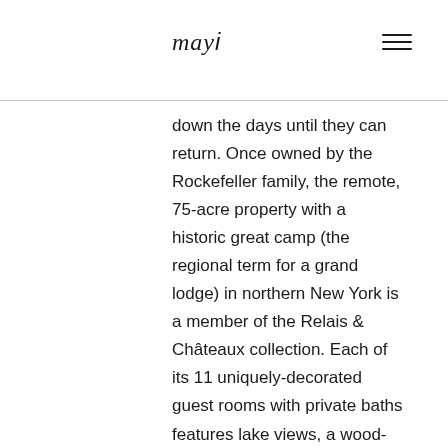mayi
down the days until they can return. Once owned by the Rockefeller family, the remote, 75-acre property with a historic great camp (the regional term for a grand lodge) in northern New York is a member of the Relais & Châteaux collection. Each of its 11 uniquely-decorated guest rooms with private baths features lake views, a wood-burning fireplace and porch to listen to the loons. The all-inclusive hospitality concept is also known for its old-fashioned charm, such as scenic boat rides on antique watercraft and regularly scheduled black-tie dinners. You can see why it's a timeless hit.